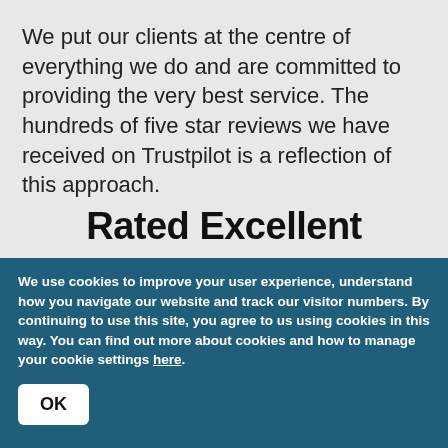We put our clients at the centre of everything we do and are committed to providing the very best service. The hundreds of five star reviews we have received on Trustpilot is a reflection of this approach.
Rated Excellent
We use cookies to improve your user experience, understand how you navigate our website and track our visitor numbers. By continuing to use this site, you agree to us using cookies in this way. You can find out more about cookies and how to manage your cookie settings here.